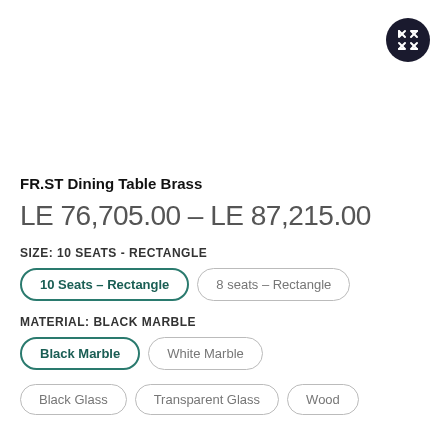[Figure (other): Expand/fullscreen button icon (dark circle with arrows icon) in top-right corner]
FR.ST Dining Table Brass
LE 76,705.00 – LE 87,215.00
SIZE: 10 SEATS - RECTANGLE
10 Seats – Rectangle (selected)
8 seats – Rectangle
MATERIAL: BLACK MARBLE
Black Marble (selected)
White Marble
Black Glass
Transparent Glass
Wood